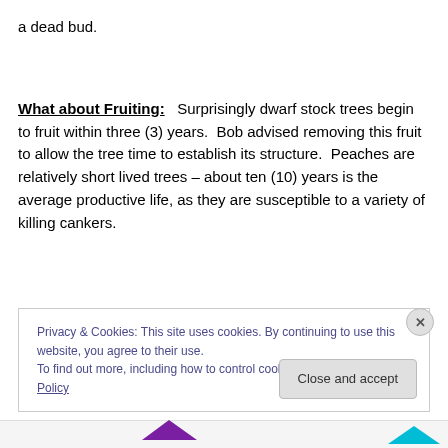a dead bud.
What about Fruiting:   Surprisingly dwarf stock trees begin to fruit within three (3) years.  Bob advised removing this fruit to allow the tree time to establish its structure.  Peaches are relatively short lived trees – about ten (10) years is the average productive life, as they are susceptible to a variety of killing cankers.
Privacy & Cookies: This site uses cookies. By continuing to use this website, you agree to their use.
To find out more, including how to control cookies, see here: Cookie Policy
Close and accept